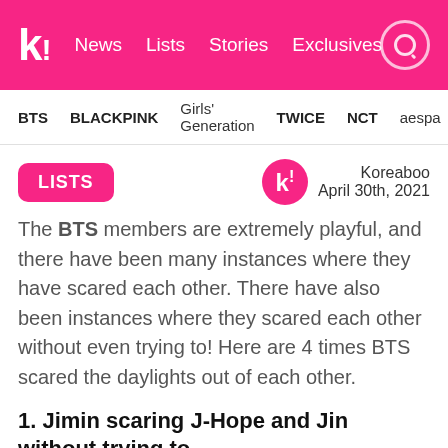k! News Lists Stories Exclusives
BTS BLACKPINK Girls' Generation TWICE NCT aespa
LISTS
Koreaboo
April 30th, 2021
The BTS members are extremely playful, and there have been many instances where they have scared each other. There have also been instances where they scared each other without even trying to! Here are 4 times BTS scared the daylights out of each other.
1. Jimin scaring J-Hope and Jin without trying to
Jin and J-Hope get scared quite easily, and